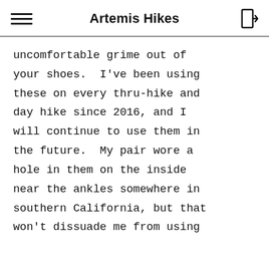Artemis Hikes
uncomfortable grime out of your shoes.  I've been using these on every thru-hike and day hike since 2016, and I will continue to use them in the future.  My pair wore a hole in them on the inside near the ankles somewhere in southern California, but that won't dissuade me from using